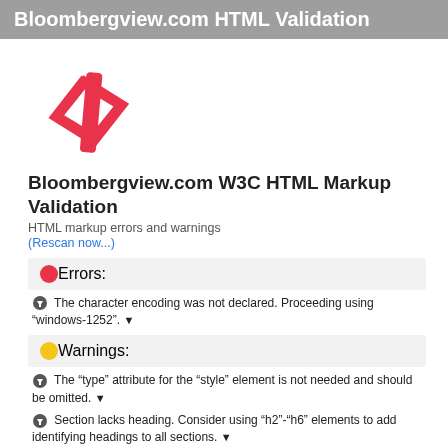Bloombergview.com HTML Validation
[Figure (logo): Red HTML code tag icon: </> in pink/red color]
Bloombergview.com W3C HTML Markup Validation
HTML markup errors and warnings
(Rescan now...)
Errors:
The character encoding was not declared. Proceeding using “windows-1252”. ▾
Warnings:
The “type” attribute for the “style” element is not needed and should be omitted. ▾
Section lacks heading. Consider using “h2”-“h6” elements to add identifying headings to all sections. ▾